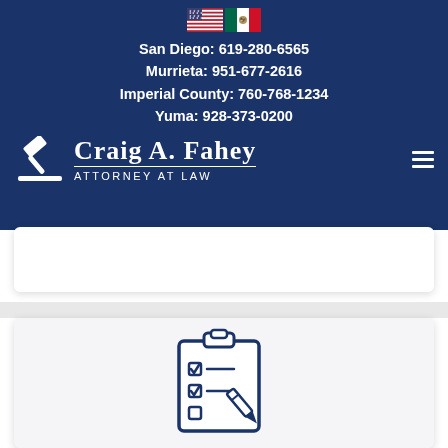Craig A. Fahey Attorney at Law
San Diego: 619-280-6565
Murrieta: 951-677-2616
Imperial County: 760-768-1234
Yuma: 928-373-0200
[Figure (logo): Craig A. Fahey Attorney at Law logo with gavel icon]
[Figure (illustration): Clipboard with checklist and pencil icon]